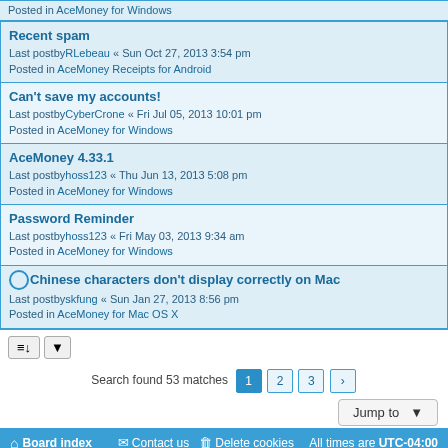Recent spam
Last postby RLebeau « Sun Oct 27, 2013 3:54 pm
Posted in AceMoney Receipts for Android
Can't save my accounts!
Last postby CyberCrone « Fri Jul 05, 2013 10:01 pm
Posted in AceMoney for Windows
AceMoney 4.33.1
Last postby hoss123 « Thu Jun 13, 2013 5:08 pm
Posted in AceMoney for Windows
Password Reminder
Last postby hoss123 « Fri May 03, 2013 9:34 am
Posted in AceMoney for Windows
Chinese characters don't display correctly on Mac
Last postby skfung « Sun Jan 27, 2013 8:56 pm
Posted in AceMoney for Mac OS X
Search found 53 matches
Board index   Contact us   Delete cookies   All times are UTC-04:00
Powered by phpBB® Forum Software © phpBB Limited